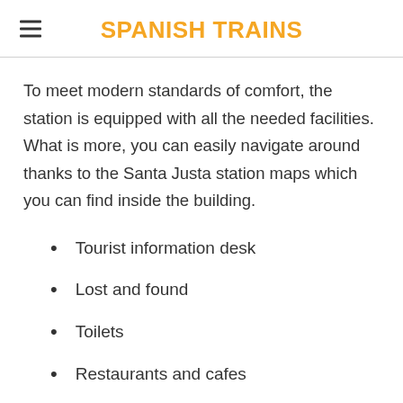SPANISH TRAINS
To meet modern standards of comfort, the station is equipped with all the needed facilities. What is more, you can easily navigate around thanks to the Santa Justa station maps which you can find inside the building.
Tourist information desk
Lost and found
Toilets
Restaurants and cafes
Luggage storage